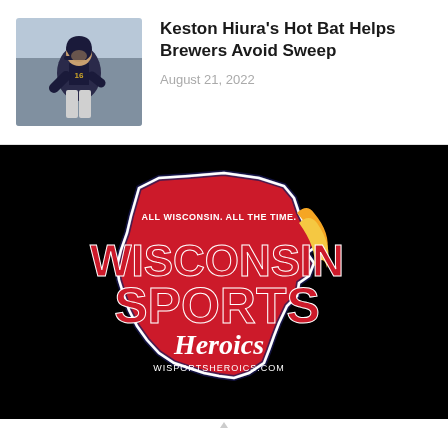[Figure (photo): Thumbnail photo of Keston Hiura, Milwaukee Brewers baseball player, in uniform walking]
Keston Hiura's Hot Bat Helps Brewers Avoid Sweep
August 21, 2022
[Figure (logo): Wisconsin Sports Heroics logo on black background. Red Wisconsin state silhouette shape with text 'ALL WISCONSIN. ALL THE TIME.' at top, large 'WISCONSIN SPORTS' in bold red letters, 'Heroics' in script, and 'WISPORTSHEROICS.COM' at bottom. White and navy border around state shape with gold flame accent.]